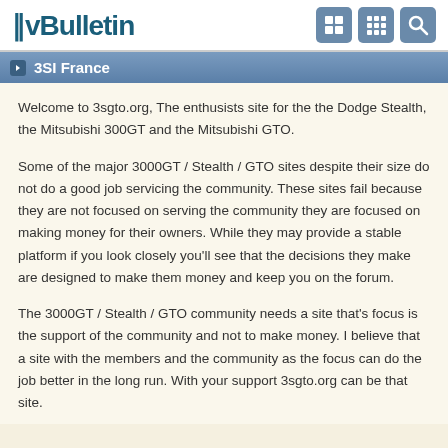vBulletin
3SI France
Welcome to 3sgto.org, The enthusists site for the the Dodge Stealth, the Mitsubishi 300GT and the Mitsubishi GTO.
Some of the major 3000GT / Stealth / GTO sites despite their size do not do a good job servicing the community. These sites fail because they are not focused on serving the community they are focused on making money for their owners. While they may provide a stable platform if you look closely you'll see that the decisions they make are designed to make them money and keep you on the forum.
The 3000GT / Stealth / GTO community needs a site that's focus is the support of the community and not to make money. I believe that a site with the members and the community as the focus can do the job better in the long run. With your support 3sgto.org can be that site.